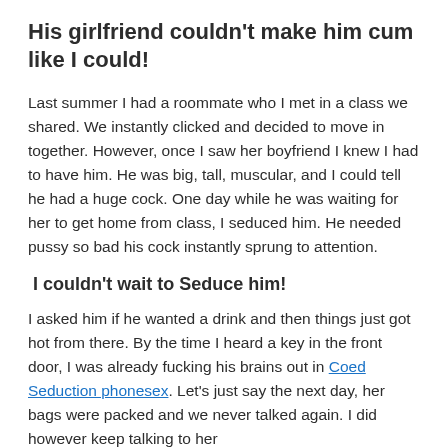His girlfriend couldn't make him cum like I could!
Last summer I had a roommate who I met in a class we shared. We instantly clicked and decided to move in together. However, once I saw her boyfriend I knew I had to have him. He was big, tall, muscular, and I could tell he had a huge cock. One day while he was waiting for her to get home from class, I seduced him. He needed pussy so bad his cock instantly sprung to attention.
I couldn't wait to Seduce him!
I asked him if he wanted a drink and then things just got hot from there. By the time I heard a key in the front door, I was already fucking his brains out in Coed Seduction phonesex. Let's just say the next day, her bags were packed and we never talked again. I did however keep talking to her